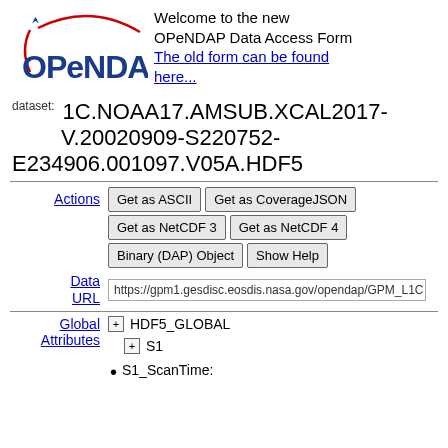[Figure (logo): OPeNDAP logo with red arc and blue star]
Welcome to the new OPeNDAP Data Access Form
The old form can be found here...
dataset: 1C.NOAA17.AMSUB.XCAL2017-V.20020909-S220752-E234906.001097.V05A.HDF5
Actions
Get as ASCII | Get as CoverageJSON | Get as NetCDF 3 | Get as NetCDF 4 | Binary (DAP) Object | Show Help
Data URL
https://gpm1.gesdisc.eosdis.nasa.gov/opendap/GPM_L1C
Global Attributes
HDF5_GLOBAL
S1
S1_ScanTime: